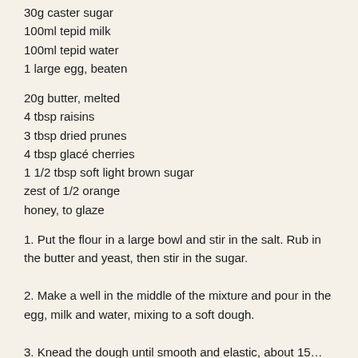30g caster sugar
100ml tepid milk
100ml tepid water
1 large egg, beaten
20g butter, melted
4 tbsp raisins
3 tbsp dried prunes
4 tbsp glacé cherries
1 1/2 tbsp soft light brown sugar
zest of 1/2 orange
honey, to glaze
1. Put the flour in a large bowl and stir in the salt. Rub in the butter and yeast, then stir in the sugar.
2. Make a well in the middle of the mixture and pour in the egg, milk and water, mixing to a soft dough.
3. Knead the dough until smooth and elastic, about 15…